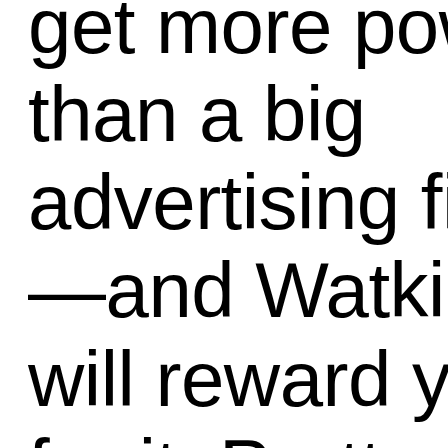get more powe than a big advertising firm —and Watkins will reward you for it. Pretty cool, huh?